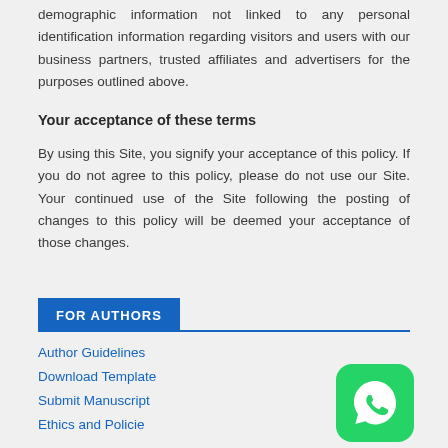demographic information not linked to any personal identification information regarding visitors and users with our business partners, trusted affiliates and advertisers for the purposes outlined above.
Your acceptance of these terms
By using this Site, you signify your acceptance of this policy. If you do not agree to this policy, please do not use our Site. Your continued use of the Site following the posting of changes to this policy will be deemed your acceptance of those changes.
FOR AUTHORS
Author Guidelines
Download Template
Submit Manuscript
Ethics and Policies